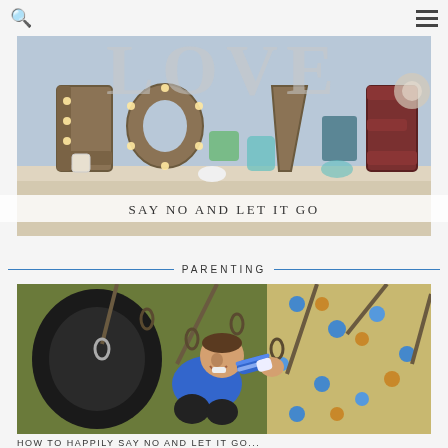Search | Menu
[Figure (photo): Photo of decorative LOVE letters made from metal with light bulbs on a wooden shelf with various decorative items]
SAY NO AND LET IT GO
PARENTING
[Figure (photo): Photo of a young child laughing and playing on a tire swing with chains, with a climbing wall in the background]
HOW TO HAPPILY SAY NO AND LET IT GO...